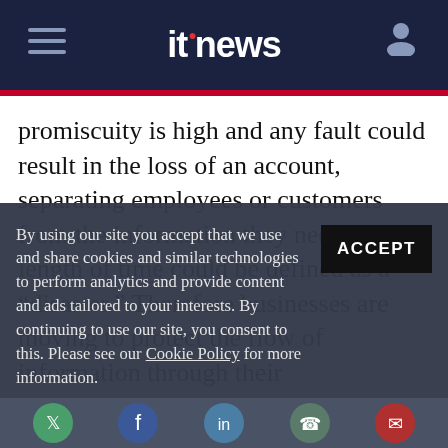itnews
promiscuity is high and any fault could result in the loss of an account, separating employees or customers from the information they need for any length of time could be defined as a "disaster." Therefore businesses are moving to protect the flow of information through their
By using our site you accept that we use and share cookies and similar technologies to perform analytics and provide content and ads tailored to your interests. By continuing to use our site, you consent to this. Please see our Cookie Policy for more information.